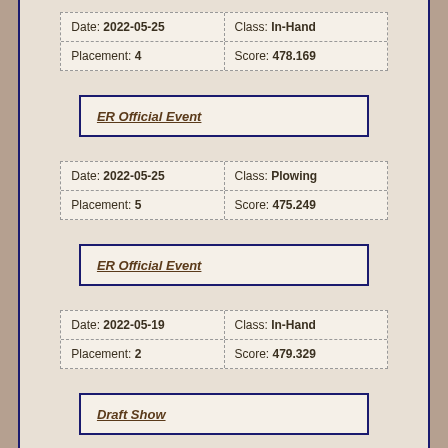| Date | Class |
| --- | --- |
| Date: 2022-05-25 | Class: In-Hand |
| Placement: 4 | Score: 478.169 |
ER Official Event
| Date | Class |
| --- | --- |
| Date: 2022-05-25 | Class: Plowing |
| Placement: 5 | Score: 475.249 |
ER Official Event
| Date | Class |
| --- | --- |
| Date: 2022-05-19 | Class: In-Hand |
| Placement: 2 | Score: 479.329 |
Draft Show
| Date | Class |
| --- | --- |
| Date: 2022-05-19 | Class: Plowing |